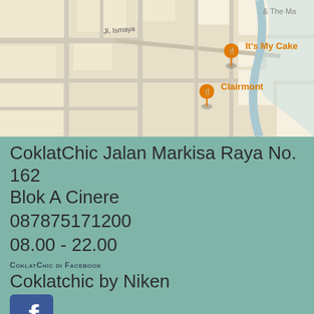[Figure (map): Google Maps screenshot showing local area with orange map pins for 'It's My Cake' and 'Clairmont' restaurants, street named 'Jl. Ismaya' visible]
CoklatChic Jalan Markisa Raya No. 162 Blok A Cinere
087875171200
08.00 - 22.00
CoklatChic di Facebook
Coklatchic by Niken
[Figure (logo): Facebook logo icon - blue square with white 'f' letter]
Promote Your Page Too
Coklatchic on Instagram